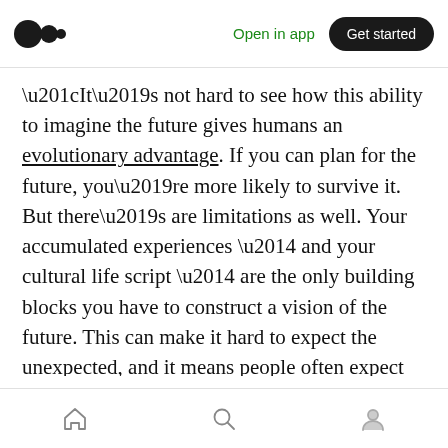Medium app header — Open in app | Get started
“It’s not hard to see how this ability to imagine the future gives humans an evolutionary advantage. If you can plan for the future, you’re more likely to survive it. But there’s are limitations as well. Your accumulated experiences — and your cultural life script — are the only building blocks you have to construct a vision of the future. This can make it hard to expect the unexpected, and it means people often expect the future to be more like the past, or the present, than it will be.
Bottom navigation bar with home, search, and profile icons